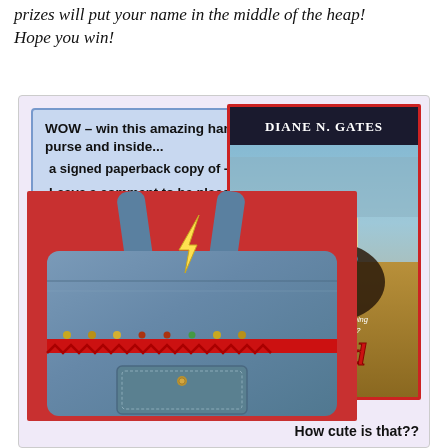prizes will put your name in the middle of the heap! Hope you win!
[Figure (infographic): Promotional giveaway image with blue-lavender info panel announcing a hand-sewn blue jean purse prize and a signed paperback book 'Roped' by Diane N. Gates. Includes a photo of a denim purse with red trim and studs on a red background, and a book cover showing a rodeo scene with a horse and bull.]